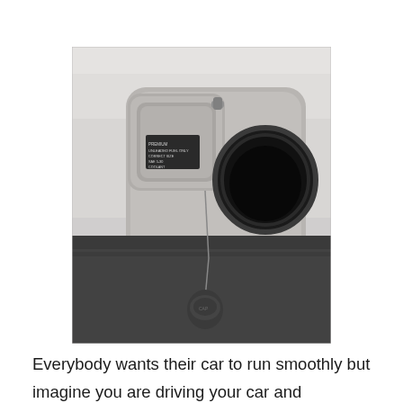[Figure (photo): Close-up photograph of an open car fuel cap door on a silver vehicle. The fuel cap is hanging by its tether below the open fuel door, which reveals the dark circular fuel filler neck opening. There is a black label with white text on the inside of the fuel door. A dark plastic bumper/trim piece is visible in the lower left corner.]
Everybody wants their car to run smoothly but imagine you are driving your car and suddenly it